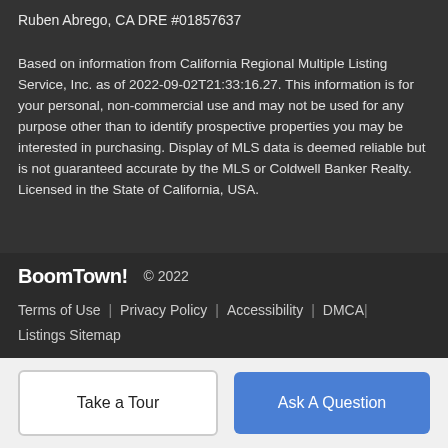Ruben Abrego, CA DRE #01857637
Based on information from California Regional Multiple Listing Service, Inc. as of 2022-09-02T21:33:16.27. This information is for your personal, non-commercial use and may not be used for any purpose other than to identify prospective properties you may be interested in purchasing. Display of MLS data is deemed reliable but is not guaranteed accurate by the MLS or Coldwell Banker Realty. Licensed in the State of California, USA.
BoomTown! © 2022
Terms of Use | Privacy Policy | Accessibility | DMCA | Listings Sitemap
Take a Tour
Ask A Question